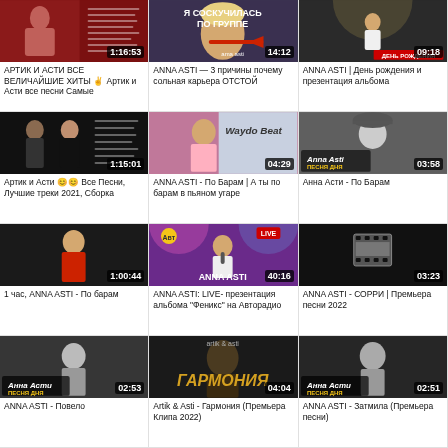[Figure (screenshot): Video thumbnail: АРТИК И АСТИ ВСЕ ВЕЛИЧАЙШИЕ ХИТЫ, duration 1:16:53]
АРТИК И АСТИ ВСЕ ВЕЛИЧАЙШИЕ ХИТЫ ✌ Артик и Асти все песни Самые
[Figure (screenshot): Video thumbnail: ANNA ASTI 3 причины почему сольная карьера ОТСТОЙ, duration 14:12]
ANNA ASTI — 3 причины почему сольная карьера ОТСТОЙ
[Figure (screenshot): Video thumbnail: ANNA ASTI День рождения и презентация альбома, duration 09:18]
ANNA ASTI | День рождения и презентация альбома
[Figure (screenshot): Video thumbnail: Артик и Асти Все Песни Лучшие треки 2021 Сборка, duration 1:15:01]
Артик и Асти 😊😊 Все Песни, Лучшие треки 2021, Сборка
[Figure (screenshot): Video thumbnail: ANNA ASTI По Барам А ты по барам в пьяном угаре, duration 04:29]
ANNA ASTI - По Барам | А ты по барам в пьяном угаре
[Figure (screenshot): Video thumbnail: Анна Асти По Барам, duration 03:58]
Анна Асти - По Барам
[Figure (screenshot): Video thumbnail: 1 час ANNA ASTI По барам, duration 1:00:44]
1 час, ANNA ASTI - По барам
[Figure (screenshot): Video thumbnail: ANNA ASTI LIVE презентация альбома Феникс на Авторадио, duration 40:16]
ANNA ASTI: LIVE- презентация альбома "Феникс" на Авторадио
[Figure (screenshot): Video thumbnail: ANNA ASTI СОРРИ Премьера песни 2022, duration 03:23]
ANNA ASTI - СОРРИ | Премьера песни 2022
[Figure (screenshot): Video thumbnail: ANNA ASTI Повело, duration 02:53]
ANNA ASTI - Повело
[Figure (screenshot): Video thumbnail: Artik & Asti Гармония Премьера Клипа 2022, duration 04:04]
Artik & Asti - Гармония (Премьера Клипа 2022)
[Figure (screenshot): Video thumbnail: ANNA ASTI Затмила Премьера песни, duration 02:51]
ANNA ASTI - Затмила (Премьера песни)